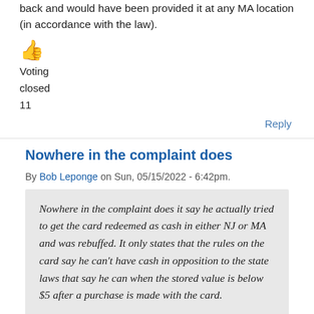back and would have been provided it at any MA location (in accordance with the law).
👍 Voting
closed
11
Reply
Nowhere in the complaint does
By Bob Leponge on Sun, 05/15/2022 - 6:42pm.
Nowhere in the complaint does it say he actually tried to get the card redeemed as cash in either NJ or MA and was rebuffed. It only states that the rules on the card say he can't have cash in opposition to the state laws that say he can when the stored value is below $5 after a purchase is made with the card.